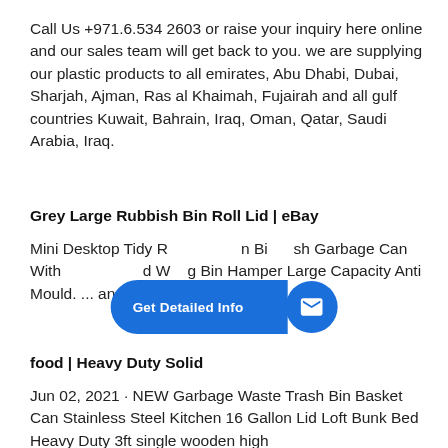Call Us +971.6.534 2603 or raise your inquiry here online and our sales team will get back to you. we are supplying our plastic products to all emirates, Abu Dhabi, Dubai, Sharjah, Ajman, Ras al Khaimah, Fujairah and all gulf countries Kuwait, Bahrain, Iraq, Oman, Qatar, Saudi Arabia, Iraq.
Grey Large Rubbish Bin Roll Lid | eBay
Mini Desktop Tidy R... ...n Bi... ...sh Garbage Can With ... ...d W... ...g Bin Hamper Large Capacity Anti Mould. ... and Caicos Islands, Aruba ...
food | Heavy Duty Solid
Jun 02, 2021 · NEW Garbage Waste Trash Bin Basket Can Stainless Steel Kitchen 16 Gallon Lid Loft Bunk Bed Heavy Duty 3ft single wooden high ... ...d CAN BE USED M...